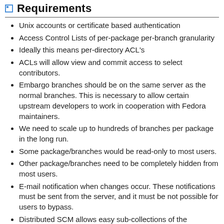Requirements
Unix accounts or certificate based authentication
Access Control Lists of per-package per-branch granularity
Ideally this means per-directory ACL's
ACLs will allow view and commit access to select contributors.
Embargo branches should be on the same server as the normal branches. This is necessary to allow certain upstream developers to work in cooperation with Fedora maintainers.
We need to scale up to hundreds of branches per package in the long run.
Some package/branches would be read-only to most users.
Other package/branches need to be completely hidden from most users.
E-mail notification when changes occur. These notifications must be sent from the server, and it must be not possible for users to bypass.
Distributed SCM allows easy sub-collections of the distribution to be built and tested independently, then the bulk be easily merged back while minimizing effort.